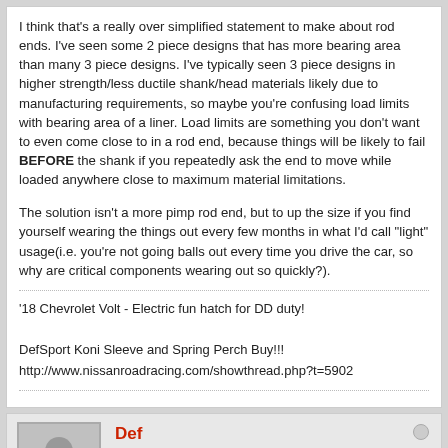I think that's a really over simplified statement to make about rod ends. I've seen some 2 piece designs that has more bearing area than many 3 piece designs. I've typically seen 3 piece designs in higher strength/less ductile shank/head materials likely due to manufacturing requirements, so maybe you're confusing load limits with bearing area of a liner. Load limits are something you don't want to even come close to in a rod end, because things will be likely to fail BEFORE the shank if you repeatedly ask the end to move while loaded anywhere close to maximum material limitations.
The solution isn't a more pimp rod end, but to up the size if you find yourself wearing the things out every few months in what I'd call "light" usage(i.e. you're not going balls out every time you drive the car, so why are critical components wearing out so quickly?).
'18 Chevrolet Volt - Electric fun hatch for DD duty!

DefSport Koni Sleeve and Spring Perch Buy!!!
http://www.nissanroadracing.com/showthread.php?t=5902
Def
Budget Baller to the Max
Join Date: Dec 2007   Posts: 12151